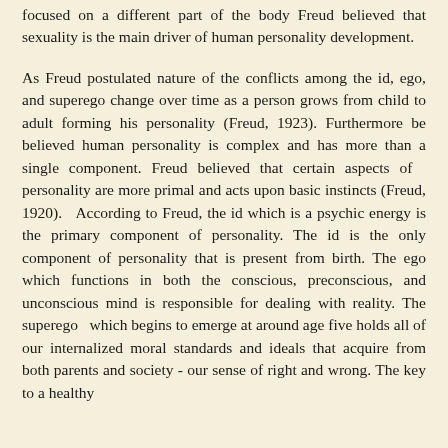focused on a different part of the body Freud believed that sexuality is the main driver of human personality development.
As Freud postulated nature of the conflicts among the id, ego, and superego change over time as a person grows from child to adult forming his personality (Freud, 1923). Furthermore be believed human personality is complex and has more than a single component. Freud believed that certain aspects of personality are more primal and acts upon basic instincts (Freud, 1920). According to Freud, the id which is a psychic energy is the primary component of personality. The id is the only component of personality that is present from birth. The ego which functions in both the conscious, preconscious, and unconscious mind is responsible for dealing with reality. The superego which begins to emerge at around age five holds all of our internalized moral standards and ideals that acquire from both parents and society - our sense of right and wrong. The key to a healthy